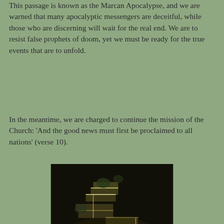This passage is known as the Marcan Apocalypse, and we are warned that many apocalyptic messengers are deceitful, while those who are discerning will wait for the real end. We are to resist false prophets of doom, yet we must be ready for the true events that are to unfold.
In the meantime, we are charged to continue the mission of the Church: 'And the good news must first be proclaimed to all nations' (verse 10).
[Figure (photo): Aerial or night-lit view of a zigzag staircase structure with metal railings and plants, illuminated from below against a dark background.]